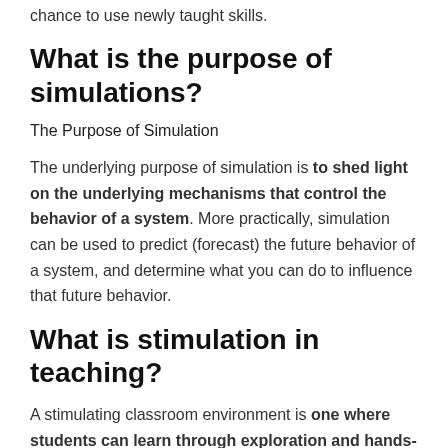chance to use newly taught skills.
What is the purpose of simulations?
The Purpose of Simulation
The underlying purpose of simulation is to shed light on the underlying mechanisms that control the behavior of a system. More practically, simulation can be used to predict (forecast) the future behavior of a system, and determine what you can do to influence that future behavior.
What is stimulation in teaching?
A stimulating classroom environment is one where students can learn through exploration and hands-on practice, be encouraged to think critically, and be provided